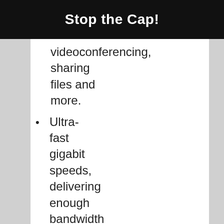Stop the Cap!
videoconferencing, sharing files and more.
Ultra-fast gigabit speeds, delivering enough bandwidth for everyone to be on their devices at once without